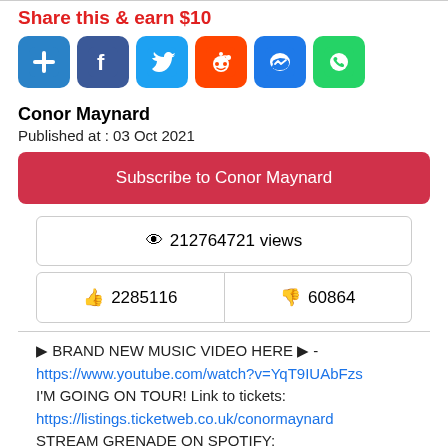Share this & earn $10
[Figure (infographic): Row of 6 social sharing icon buttons: Plus (blue), Facebook (blue), Twitter (blue), Reddit (orange), Messenger (blue), WhatsApp (green)]
Conor Maynard
Published at : 03 Oct 2021
Subscribe to Conor Maynard
👁 212764721 views
👍 2285116
👎 60864
▶ BRAND NEW MUSIC VIDEO HERE ▶ - https://www.youtube.com/watch?v=YqT9IUAbFzs I'M GOING ON TOUR! Link to tickets: https://listings.ticketweb.co.uk/conormaynard STREAM GRENADE ON SPOTIFY: https://play.spotify.com/track/7v2RgTzleSLtZYyRIWI6...